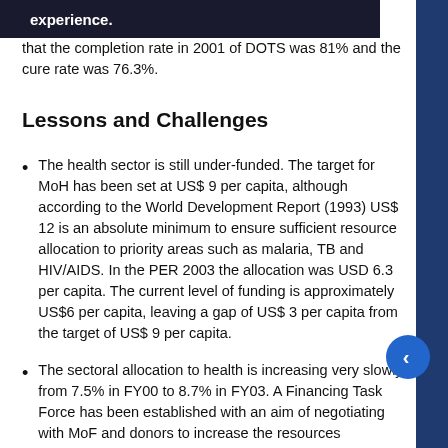(M... experience. ...d that the completion rate in 2001 of DOTS was 81% and the cure rate was 76.3%.
Lessons and Challenges
The health sector is still under-funded. The target for MoH has been set at US$ 9 per capita, although according to the World Development Report (1993) US$ 12 is an absolute minimum to ensure sufficient resource allocation to priority areas such as malaria, TB and HIV/AIDS. In the PER 2003 the allocation was USD 6.3 per capita. The current level of funding is approximately US$6 per capita, leaving a gap of US$ 3 per capita from the target of US$ 9 per capita.
The sectoral allocation to health is increasing very slowly, from 7.5% in FY00 to 8.7% in FY03. A Financing Task Force has been established with an aim of negotiating with MoF and donors to increase the resources envelope.